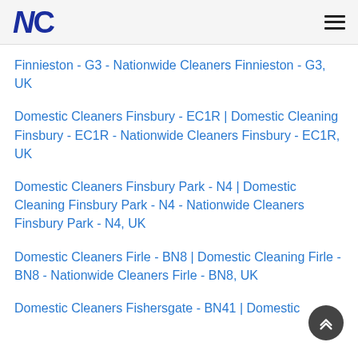NC
Finnieston - G3 - Nationwide Cleaners Finnieston - G3, UK
Domestic Cleaners Finsbury - EC1R | Domestic Cleaning Finsbury - EC1R - Nationwide Cleaners Finsbury - EC1R, UK
Domestic Cleaners Finsbury Park - N4 | Domestic Cleaning Finsbury Park - N4 - Nationwide Cleaners Finsbury Park - N4, UK
Domestic Cleaners Firle - BN8 | Domestic Cleaning Firle - BN8 - Nationwide Cleaners Firle - BN8, UK
Domestic Cleaners Fishersgate - BN41 | Domestic